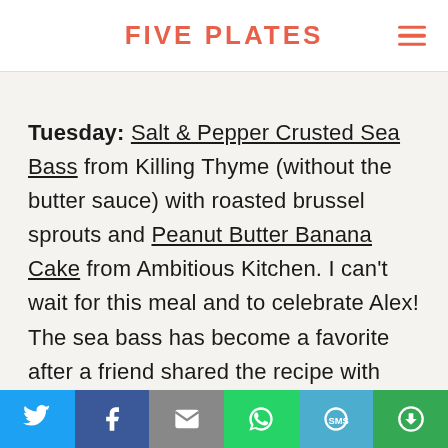FIVE PLATES
Tuesday: Salt & Pepper Crusted Sea Bass from Killing Thyme (without the butter sauce) with roasted brussel sprouts and Peanut Butter Banana Cake from Ambitious Kitchen. I can't wait for this meal and to celebrate Alex! The sea bass has become a favorite after a friend shared the recipe with me, plus it's so easy. And we are big fans of peanut butter so l